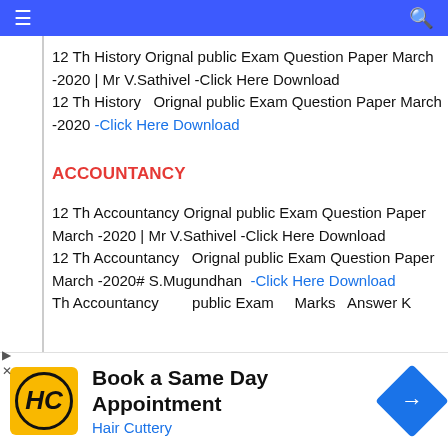≡ [search icon]
12 Th History Orignal public Exam Question Paper March -2020 | Mr V.Sathivel -Click Here Download
12 Th History  Orignal public Exam Question Paper March -2020 -Click Here Download
ACCOUNTANCY
12 Th Accountancy Orignal public Exam Question Paper March -2020 | Mr V.Sathivel -Click Here Download
12 Th Accountancy  Orignal public Exam Question Paper March -2020# S.Mugundhan  -Click Here Download
[Figure (screenshot): Advertisement banner for Hair Cuttery: Book a Same Day Appointment, with HC logo and directional arrow icon]